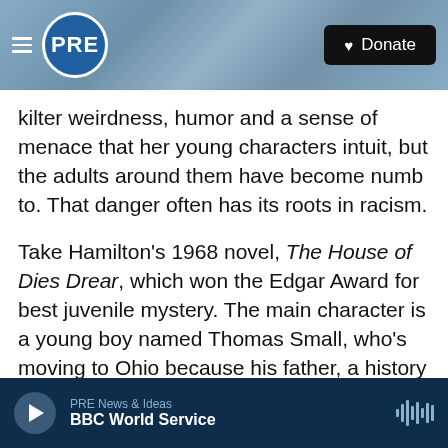[Figure (screenshot): PRE radio website header with logo, hamburger menu, and Donate button over ocean wave background]
kilter weirdness, humor and a sense of menace that her young characters intuit, but the adults around them have become numb to. That danger often has its roots in racism.
Take Hamilton's 1968 novel, The House of Dies Drear, which won the Edgar Award for best juvenile mystery. The main character is a young boy named Thomas Small, who's moving to Ohio because his father, a history professor, has gotten a position at the local college.
Thomas is what I now think of as a typical Hamilton
PRE News & Ideas  BBC World Service